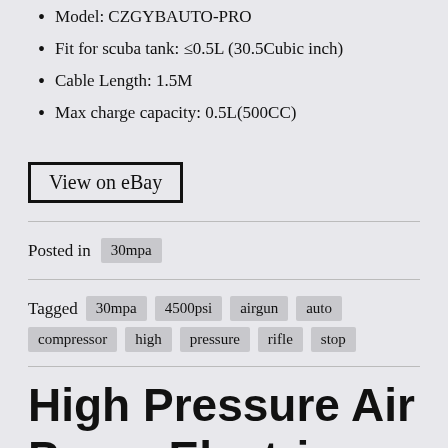Model: CZGYBAUTO-PRO
Fit for scuba tank: ≤0.5L (30.5Cubic inch)
Cable Length: 1.5M
Max charge capacity: 0.5L(500CC)
View on eBay
Posted in  30mpa
Tagged  30mpa  4500psi  airgun  auto  compressor  high  pressure  rifle  stop
High Pressure Air Pump Electric PCP